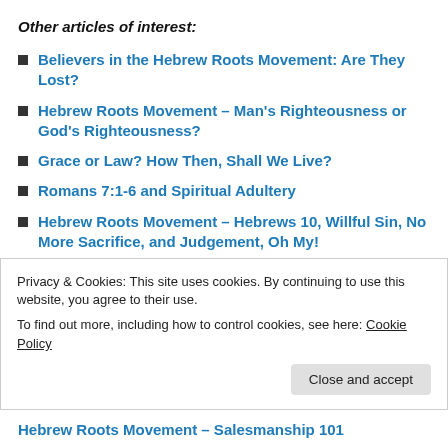Other articles of interest:
Believers in the Hebrew Roots Movement: Are They Lost?
Hebrew Roots Movement – Man's Righteousness or God's Righteousness?
Grace or Law? How Then, Shall We Live?
Romans 7:1-6 and Spiritual Adultery
Hebrew Roots Movement – Hebrews 10, Willful Sin, No More Sacrifice, and Judgement, Oh My!
Hebrew Roots Movement – Believers are Grafted
Privacy & Cookies: This site uses cookies. By continuing to use this website, you agree to their use.
To find out more, including how to control cookies, see here: Cookie Policy
Hebrew Roots Movement – Salesmanship 101